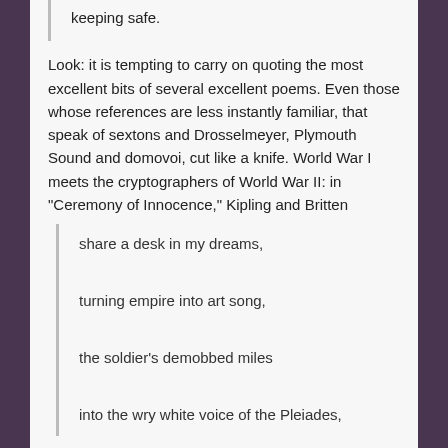keeping safe.
Look: it is tempting to carry on quoting the most excellent bits of several excellent poems. Even those whose references are less instantly familiar, that speak of sextons and Drosselmeyer, Plymouth Sound and domovoi, cut like a knife. World War I meets the cryptographers of World War II: in "Ceremony of Innocence," Kipling and Britten
share a desk in my dreams,

turning empire into art song,

the soldier's demobbed miles

into the wry white voice of the Pleiades,
while in "The Clock House" the poet invites a Christopher (who may be Christopher Morcom, Alan Turing's boyhood friend and first love) to "Come ghost out of the machine":